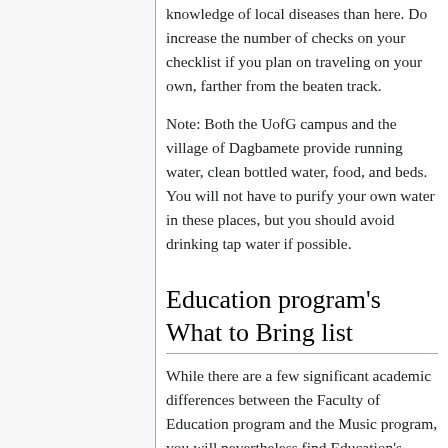knowledge of local diseases than here. Do increase the number of checks on your checklist if you plan on traveling on your own, farther from the beaten track.
Note: Both the UofG campus and the village of Dagbamete provide running water, clean bottled water, food, and beds. You will not have to purify your own water in these places, but you should avoid drinking tap water if possible.
Education program's What to Bring list
While there are a few significant academic differences between the Faculty of Education program and the Music program, you will nevertheless find Education's What To Bring list to be…